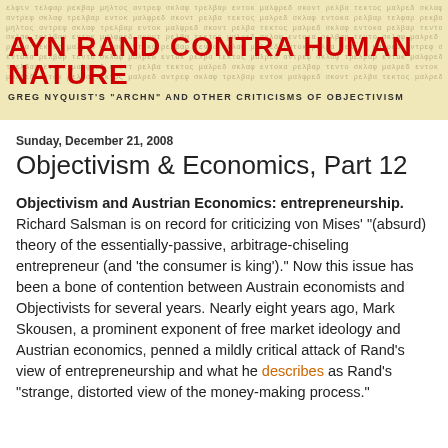[Figure (illustration): Blog header banner with aged parchment/manuscript background texture and handwritten text, featuring the site title 'AYN RAND CONTRA HUMAN NATURE' in large red bold uppercase letters and subtitle 'GREG NYQUIST'S "ARCHN" AND OTHER CRITICISMS OF OBJECTIVISM' in small dark uppercase letters.]
Sunday, December 21, 2008
Objectivism & Economics, Part 12
Objectivism and Austrian Economics: entrepreneurship. Richard Salsman is on record for criticizing von Mises' "(absurd) theory of the essentially-passive, arbitrage-chiseling entrepreneur (and 'the consumer is king')." Now this issue has been a bone of contention between Austrain economists and Objectivists for several years. Nearly eight years ago, Mark Skousen, a prominent exponent of free market ideology and Austrian economics, penned a mildly critical attack of Rand's view of entrepreneurship and what he describes as Rand's "strange, distorted view of the money-making process."